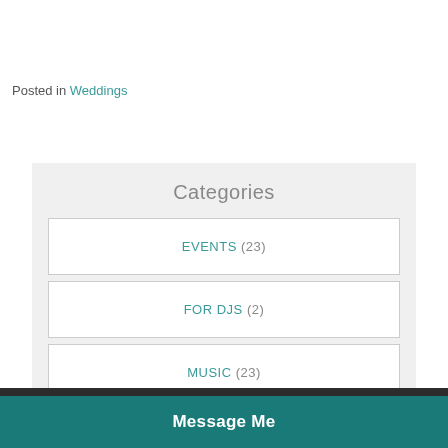Posted in Weddings
Categories
EVENTS (23)
FOR DJS (2)
MUSIC (23)
Message Me